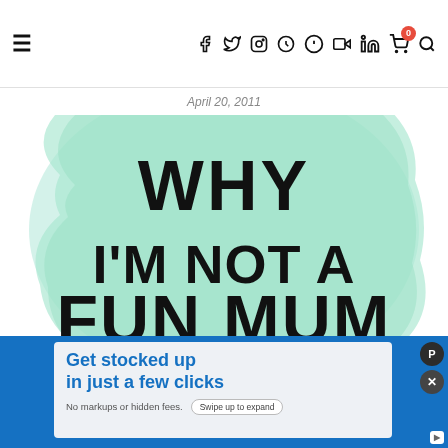≡  f  tw  inst  pin  G+  yt  in  cart(0)  search
April 20, 2011
[Figure (illustration): A watercolor-style mint green blob shape with bold black text reading: 'Why I'm not a fun mum (but I really am)']
[Figure (screenshot): Advertisement banner: 'Get stocked up in just a few clicks. No markups or hidden fees.' with Swipe up to expand button, on blue background with white ad box overlay.]